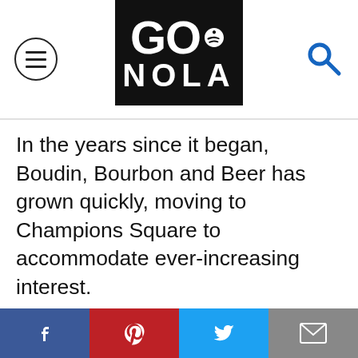GO NOLA
In the years since it began, Boudin, Bourbon and Beer has grown quickly, moving to Champions Square to accommodate ever-increasing interest.
Though the event hones in on classic boudin dishes, Link’s excitement about more creative interpretations is palpable. Previously, for example, chef Kristen Essig prepared a shrimp boudin Vietnamese plate that had him intrigued. “I’ve had a lot pork boudin in my life, and I’m excited to try something different.”
Boudin, Bourbon & Beer happens Friday, Nov. 4 —
Facebook | Pinterest | Twitter | Email